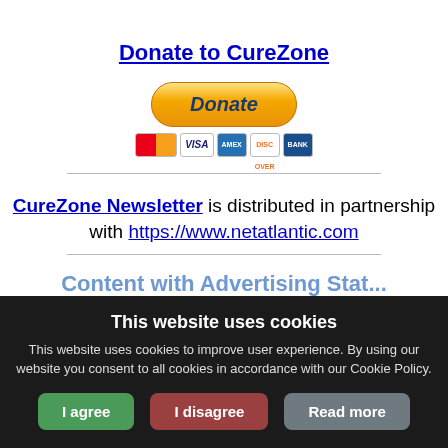Donate to CureZone
[Figure (other): PayPal Donate button with payment card icons (Mastercard, Visa, Amex, Discover, Bank)]
CureZone Newsletter is distributed in partnership with https://www.netatlantic.com
Content with Advertising Stat...
This website uses cookies
This website uses cookies to improve user experience. By using our website you consent to all cookies in accordance with our Cookie Policy.